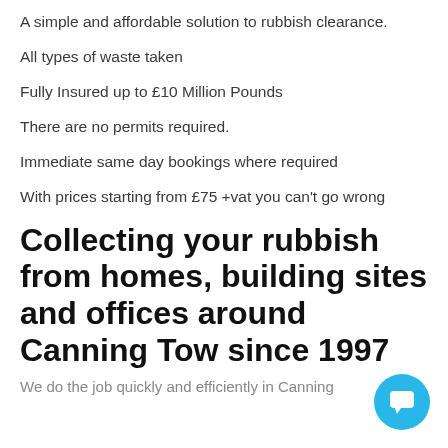A simple and affordable solution to rubbish clearance.
All types of waste taken
Fully Insured up to £10 Million Pounds
There are no permits required.
Immediate same day bookings where required
With prices starting from £75 +vat you can't go wrong
Collecting your rubbish from homes, building sites and offices around Canning Town since 1997
We do the job quickly and efficiently in Canning